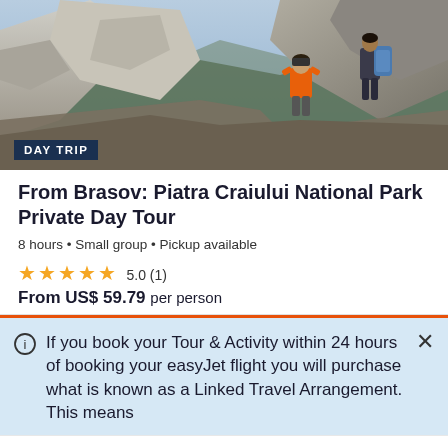[Figure (photo): Two hikers on a rocky mountain cliff; one in orange shirt looking through binoculars, one with backpack. Mountain scenery with steep cliffs and valley below.]
DAY TRIP
From Brasov: Piatra Craiului National Park Private Day Tour
8 hours • Small group • Pickup available
★★★★★ 5.0 (1)
From US$ 59.79 per person
If you book your Tour & Activity within 24 hours of booking your easyJet flight you will purchase what is known as a Linked Travel Arrangement. This means
GetYourGuide uses cookies to give you the best possible service. If you continue browsing, you agree to the use of cookies. More details can be found in our privacy policy.